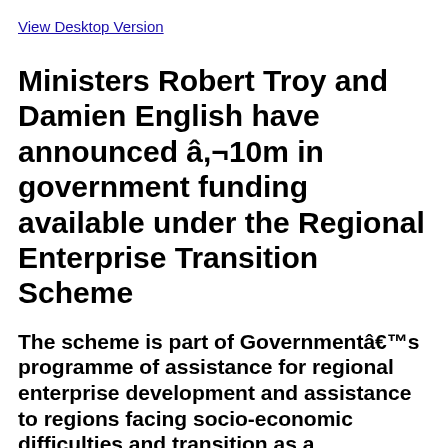View Desktop Version
Ministers Robert Troy and Damien English have announced â,¬10m in government funding available under the Regional Enterprise Transition Scheme
The scheme is part of Governmentâ€™s programme of assistance for regional enterprise development and assistance to regions facing socio-economic difficulties and transition as a consequence of the Covid-19 pandemic and other regional